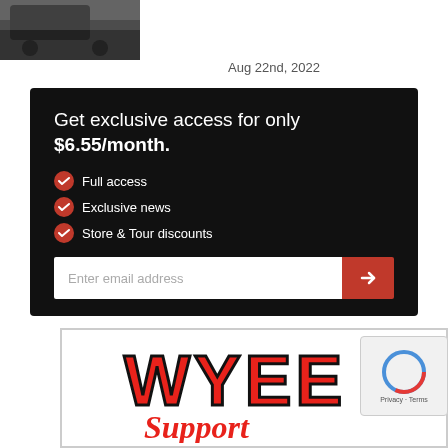[Figure (photo): Partial photo of a vehicle or motorsport scene, cropped at top left]
Aug 22nd, 2022
Get exclusive access for only $6.55/month.
Full access
Exclusive news
Store & Tour discounts
Enter email address
[Figure (logo): WYEE logo in red bold text with partial cursive text below, on white background with border]